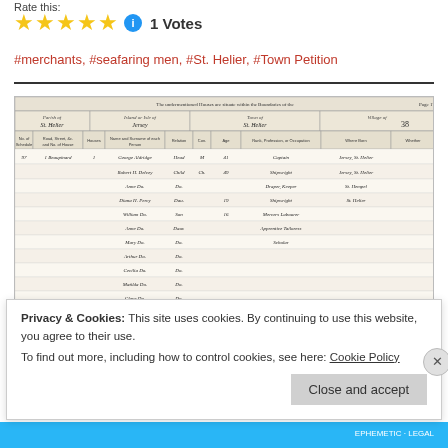Rate this:
★★★★★ ⓘ 1 Votes
#merchants, #seafaring men, #St. Helier, #Town Petition
[Figure (photo): Scanned historical census document showing handwritten entries for Parish of St. Helier, Island or Isle of Jersey, Town of St. Helier, with columns for name, relation, age, occupation, and birthplace. Multiple handwritten rows with names including George Aldridge, Robert H. Delcey, and others.]
Privacy & Cookies: This site uses cookies. By continuing to use this website, you agree to their use.
To find out more, including how to control cookies, see here: Cookie Policy
Close and accept